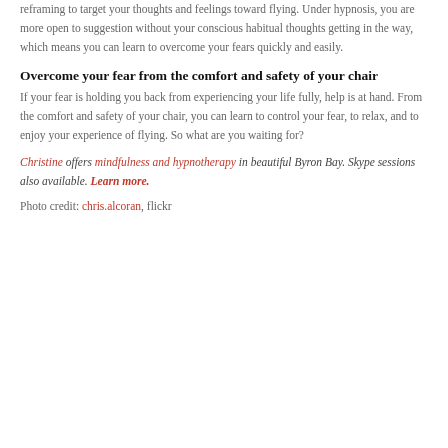reframing to target your thoughts and feelings toward flying. Under hypnosis, you are more open to suggestion without your conscious habitual thoughts getting in the way, which means you can learn to overcome your fears quickly and easily.
Overcome your fear from the comfort and safety of your chair
If your fear is holding you back from experiencing your life fully, help is at hand. From the comfort and safety of your chair, you can learn to control your fear, to relax, and to enjoy your experience of flying. So what are you waiting for?
Christine offers mindfulness and hypnotherapy in beautiful Byron Bay. Skype sessions also available. Learn more.
Photo credit: chris.alcoran, flickr